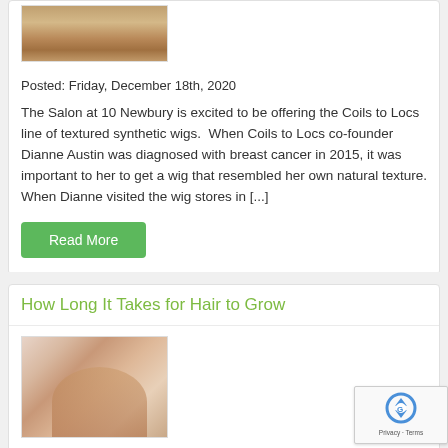[Figure (photo): Thumbnail photo of a person, partially visible at top of card]
Posted: Friday, December 18th, 2020
The Salon at 10 Newbury is excited to be offering the Coils to Locs line of textured synthetic wigs.  When Coils to Locs co-founder Dianne Austin was diagnosed with breast cancer in 2015, it was important to her to get a wig that resembled her own natural texture. When Dianne visited the wig stores in [...]
Read More
How Long It Takes for Hair to Grow
[Figure (photo): Photo of a woman with long wavy hair against a pink/lavender background]